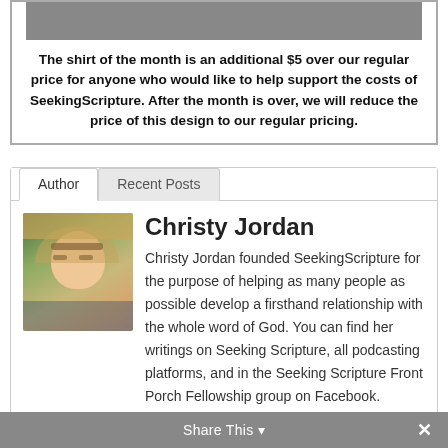The shirt of the month is an additional $5 over our regular price for anyone who would like to help support the costs of SeekingScripture.  After the month is over, we will reduce the price of this design to our regular pricing.
[Figure (photo): Author tab selected, Recent Posts tab visible. Photo of Christy Jordan — a woman with blonde hair and glasses.]
Christy Jordan
Christy Jordan founded SeekingScripture for the purpose of helping as many people as possible develop a firsthand relationship with the whole word of God. You can find her writings on Seeking Scripture, all podcasting platforms, and in the Seeking Scripture Front Porch Fellowship group on Facebook.
Share This ∨  ×